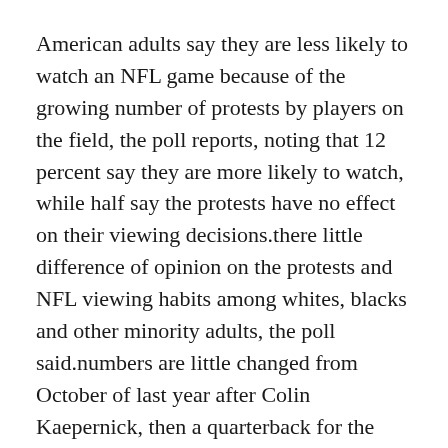American adults say they are less likely to watch an NFL game because of the growing number of protests by players on the field, the poll reports, noting that 12 percent say they are more likely to watch, while half say the protests have no effect on their viewing decisions.there little difference of opinion on the protests and NFL viewing habits among whites, blacks and other minority adults, the poll said.numbers are little changed from October of last year after Colin Kaepernick, then a quarterback for the San Francisco 49ers, initiated the protests, citing racial and police brutality issues.
Seattle strategy of re signing core players is one way teams can take advantage of a quarterback on a fixed contract. It was hard even to watch the game. I don't believe Carson will be any worse than Jason Campbell, and there stands the strong possibility that he could be a little bit better.